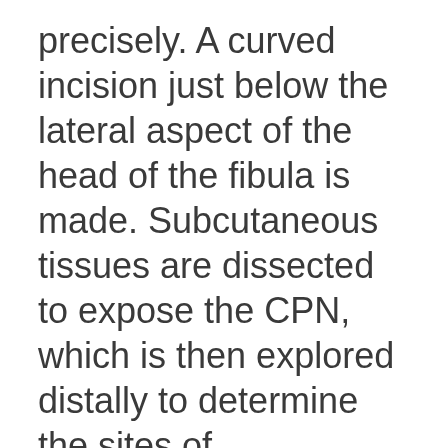precisely. A curved incision just below the lateral aspect of the head of the fibula is made. Subcutaneous tissues are dissected to expose the CPN, which is then explored distally to determine the sites of compression that originally caused neuropathy. Hypertrophy of deep tendinous fascia, anterior and posterior crural intermuscular